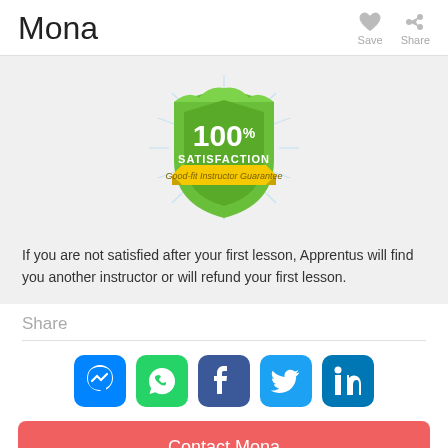Mona
[Figure (illustration): 100% Satisfaction Good-fit Instructor Guarantee badge - green shield shape with yellow ribbon banner]
If you are not satisfied after your first lesson, Apprentus will find you another instructor or will refund your first lesson.
Share
[Figure (infographic): Social sharing icons: Facebook Messenger, WhatsApp, Facebook, Twitter, LinkedIn]
Contact Mona